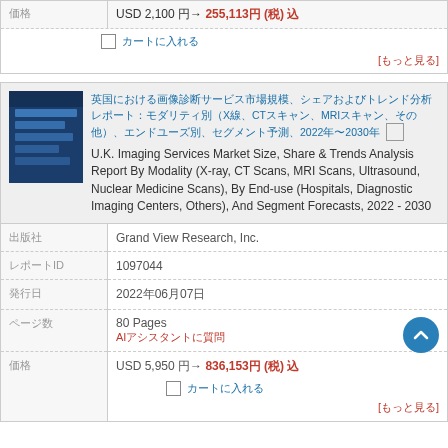|  |  |
| --- | --- |
|  | USD 2,100 → 255,113円 (税) 込 |
|  | □ カートに入れる |
|  | [もっと見る] |
[Figure (illustration): Book cover image for U.K. Imaging Services Market report, dark blue tones]
U.K. Imaging Services Market Size, Share & Trends Analysis Report By Modality (X-ray, CT Scans, MRI Scans, Ultrasound, Nuclear Medicine Scans), By End-use (Hospitals, Diagnostic Imaging Centers, Others), And Segment Forecasts, 2022 - 2030
|  |  |
| --- | --- |
| 出版社 | Grand View Research, Inc. |
| レポートID | 1097044 |
| 発行日 | 2022年06月07日 |
| ページ数 | 80 Pages
AIアシスタントに質問 |
| 価格 | USD 5,950 → 836,153円 (税) 込
□ カートに入れる
[もっと見る] |